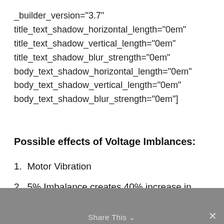_builder_version="3.7" title_text_shadow_horizontal_length="0em" title_text_shadow_vertical_length="0em" title_text_shadow_blur_strength="0em" body_text_shadow_horizontal_length="0em" body_text_shadow_vertical_length="0em" body_text_shadow_blur_strength="0em"]
Possible effects of Voltage Imblances:
1. Motor Vibration
2. 5% Imbalance creates 40% increase in Losses in Motors.
[/et_pb_accordion_item][/et_pb_accordion] [et_pb_accordion_builder_version="3.17.6"
Share This ∨  ✕